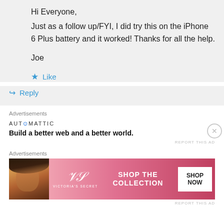Hi Everyone,
Just as a follow up/FYI, I did try this on the iPhone 6 Plus battery and it worked! Thanks for all the help.

Joe
Like
Reply
Advertisements
[Figure (infographic): Automattic advertisement: 'AUT⊙MATTIC — Build a better web and a better world.']
REPORT THIS AD
Advertisements
[Figure (photo): Victoria's Secret advertisement banner with model photo, VS logo, text 'SHOP THE COLLECTION', and 'SHOP NOW' button]
REPORT THIS AD